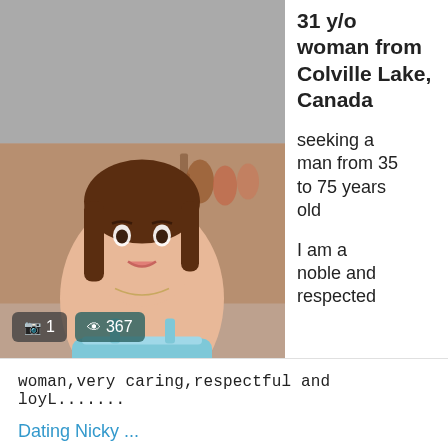[Figure (photo): Profile photo of a young woman in a blue tank top, standing in what appears to be a clothing store. She has brown hair. Overlaid badges show camera icon with '1' and eye icon with '367'.]
31 y/o woman from Colville Lake, Canada
seeking a man from 35 to 75 years old
I am a noble and respected
woman,very caring,respectful and loyL.......
Dating Nicky ...
Activity: Few Months Ago
NICE AND AMAZING